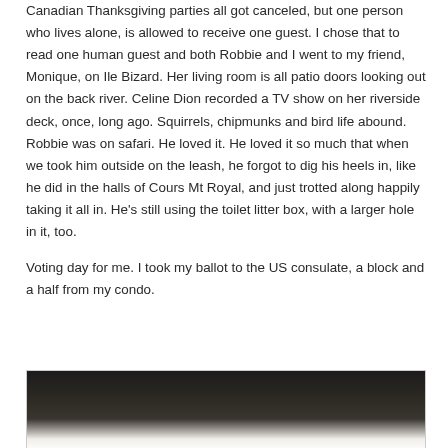Canadian Thanksgiving parties all got canceled, but one person who lives alone, is allowed to receive one guest. I chose that to read one human guest and both Robbie and I went to my friend, Monique, on Ile Bizard. Her living room is all patio doors looking out on the back river. Celine Dion recorded a TV show on her riverside deck, once, long ago. Squirrels, chipmunks and bird life abound. Robbie was on safari. He loved it. He loved it so much that when we took him outside on the leash, he forgot to dig his heels in, like he did in the halls of Cours Mt Royal, and just trotted along happily taking it all in. He's still using the toilet litter box, with a larger hole in it, too.
Voting day for me. I took my ballot to the US consulate, a block and a half from my condo.
[Figure (photo): A dark indoor/outdoor photo, partially visible, showing what appears to be a dimly lit room or entryway with dark tones at the top transitioning to lighter tones at the bottom.]